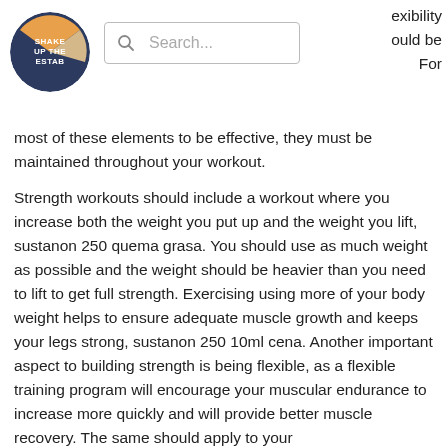[Figure (logo): Circular logo with 'SHAKE UP THE ESTAB' text on a dark blue/teal and orange/yellow background]
[Figure (screenshot): Search bar with magnifying glass icon and placeholder text 'Search...']
exibility ould be For most of these elements to be effective, they must be maintained throughout your workout.
Strength workouts should include a workout where you increase both the weight you put up and the weight you lift, sustanon 250 quema grasa. You should use as much weight as possible and the weight should be heavier than you need to lift to get full strength. Exercising using more of your body weight helps to ensure adequate muscle growth and keeps your legs strong, sustanon 250 10ml cena. Another important aspect to building strength is being flexible, as a flexible training program will encourage your muscular endurance to increase more quickly and will provide better muscle recovery. The same should apply to your